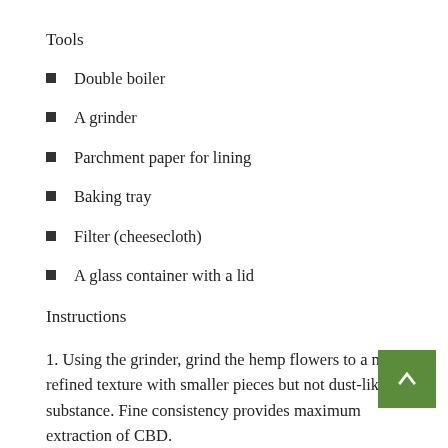Tools
Double boiler
A grinder
Parchment paper for lining
Baking tray
Filter (cheesecloth)
A glass container with a lid
Instructions
1. Using the grinder, grind the hemp flowers to a more refined texture with smaller pieces but not dust-like substance. Fine consistency provides maximum extraction of CBD.